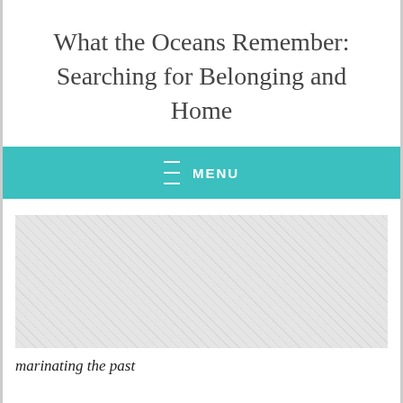What the Oceans Remember: Searching for Belonging and Home
≡ MENU
[Figure (other): Gray hatched placeholder image area]
marinating the past